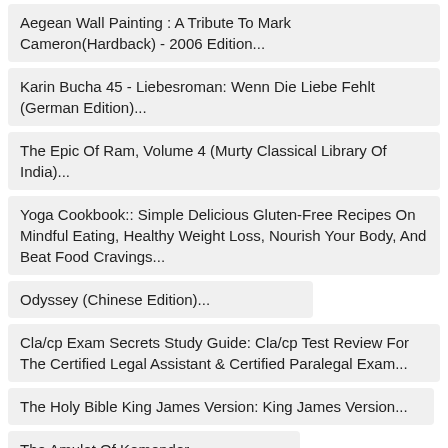Aegean Wall Painting : A Tribute To Mark Cameron(Hardback) - 2006 Edition...
Karin Bucha 45 - Liebesroman: Wenn Die Liebe Fehlt (German Edition)...
The Epic Of Ram, Volume 4 (Murty Classical Library Of India)...
Yoga Cookbook:: Simple Delicious Gluten-Free Recipes On Mindful Eating, Healthy Weight Loss, Nourish Your Body, And Beat Food Cravings...
Odyssey (Chinese Edition)...
Cla/cp Exam Secrets Study Guide: Cla/cp Test Review For The Certified Legal Assistant & Certified Paralegal Exam...
The Holy Bible King James Version: King James Version...
The Amulet Of Komondor...
Physics Vol. 1 & Webassign Access Code Card-One Term Version (4Th Edition) By James S. Walker (2009-11-21)...